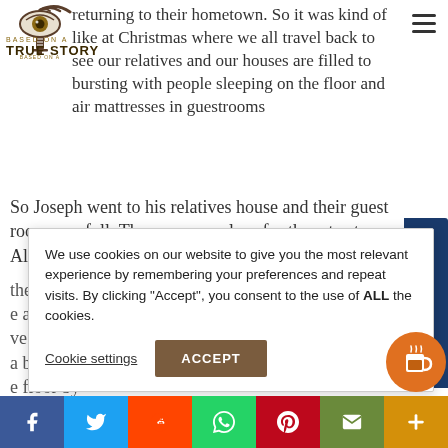[Figure (logo): Based on a True Story podcast logo with eye and microphone illustration]
returning to their hometown. So it was kind of like at Christmas where we all travel back to see our relatives and our houses are filled to bursting with people sleeping on the floor and air mattresses in guestrooms
So Joseph went to his relatives house and their guest room was full. There was no place for them to stay. All the guestrooms were probably [full] ... them to rest, ... the animal side ... we provided ... a baby. ... the floor by ... atives.
We use cookies on our website to give you the most relevant experience by remembering your preferences and repeat visits. By clicking "Accept", you consent to the use of ALL the cookies.
Cookie settings
ACCEPT
Request an Episode
Facebook Twitter Reddit WhatsApp Pinterest Email More